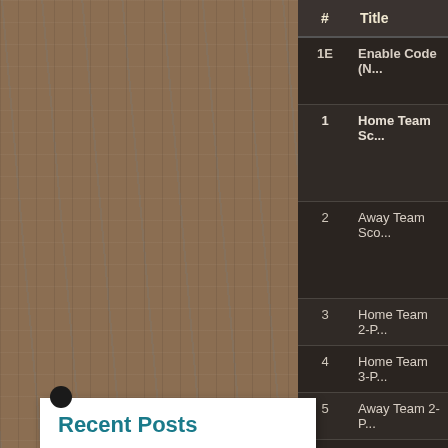| # | Title |
| --- | --- |
| 1E | Enable Code (N... |
| 1 | Home Team Sc... |
| 2 | Away Team Sco... |
| 3 | Home Team 2-P... |
| 4 | Home Team 3-P... |
| 5 | Away Team 2-P... |
| 6 | Away Team 3-P... |
| 7 | Home Team Ne... |
| 8 | Away Team Ne... |
Recent Posts